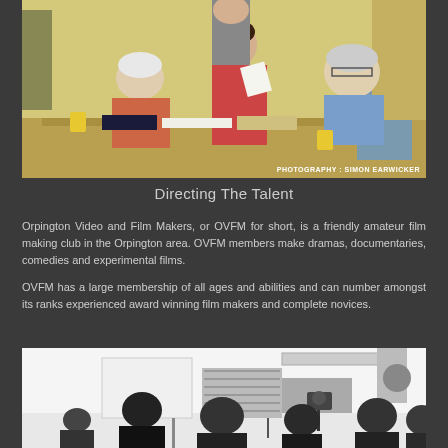[Figure (photo): Indoor scene with people at a table appearing to be reviewing scripts or documents. A woman in a red dress stands holding papers, an older woman sits at the table writing, and an older man in a blue shirt sits to the right. Photo credit: PHOTOGRAPHY : SIMON EARWICKER]
Directing The Talent
Orpington Video and Film Makers, or OVFM for short, is a friendly amateur film making club in the Orpington area. OVFM members make dramas, documentaries, comedies and experimental films.
OVFM has a large membership of all ages and abilities and can number amongst its ranks experienced award winning film makers and complete novices.
[Figure (photo): Black and white photo of a film crew on a set with lighting equipment and camera. Several people silhouetted against a bright background.]